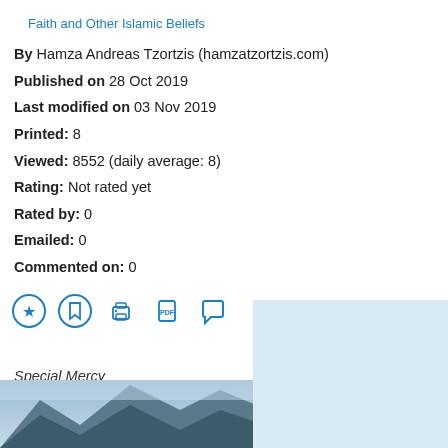Faith and Other Islamic Beliefs
By Hamza Andreas Tzortzis (hamzatzortzis.com)
Published on 28 Oct 2019
Last modified on 03 Nov 2019
Printed: 8
Viewed: 8552 (daily average: 8)
Rating: Not rated yet
Rated by: 0
Emailed: 0
Commented on: 0
[Figure (infographic): Row of action icons: star/favourite, bookmark, print, PDF, comment/speech bubble; and social share buttons: Facebook (blue), Twitter (light blue), WhatsApp (green), More/Plus (red)]
Special Mercy
[Figure (photo): Mountain landscape with snow and sky, partially visible at the bottom of the page]